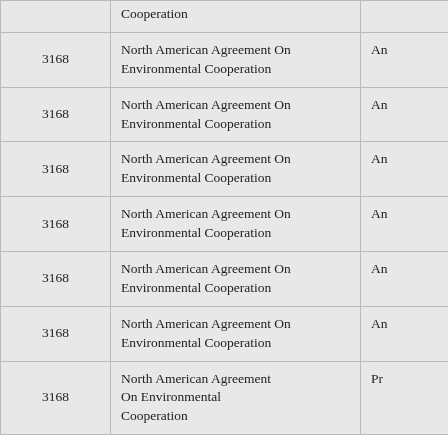| [number] | [treaty name] | [abbreviation] |
| --- | --- | --- |
|  | Cooperation |  |
| 3168 | North American Agreement On Environmental Cooperation | An... |
| 3168 | North American Agreement On Environmental Cooperation | An... |
| 3168 | North American Agreement On Environmental Cooperation | An... |
| 3168 | North American Agreement On Environmental Cooperation | An... |
| 3168 | North American Agreement On Environmental Cooperation | An... |
| 3168 | North American Agreement On Environmental Cooperation | An... |
| 3168 | North American Agreement On Environmental Cooperation | Pr... |